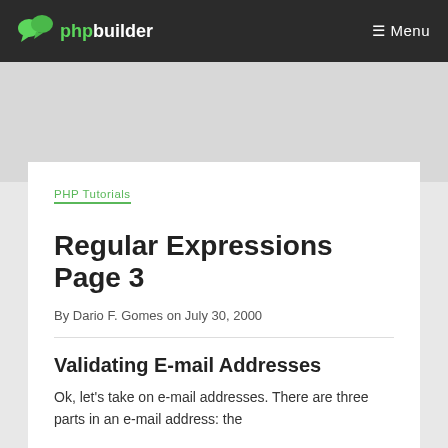phpbuilder   ☰ Menu
PHP Tutorials
Regular Expressions Page 3
By Dario F. Gomes on July 30, 2000
Validating E-mail Addresses
Ok, let's take on e-mail addresses. There are three parts in an e-mail address: the